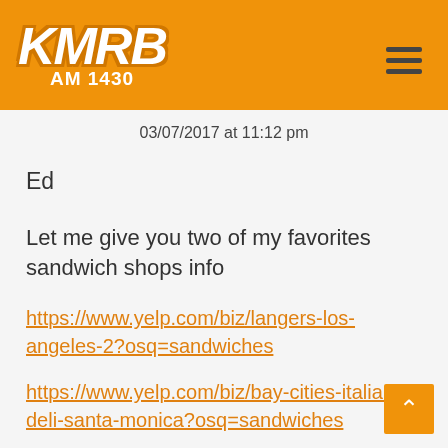[Figure (logo): KMRB AM 1430 radio station logo on orange background with hamburger menu icon]
03/07/2017 at 11:12 pm
Ed
Let me give you two of my favorites sandwich shops info
https://www.yelp.com/biz/langers-los-angeles-2?osq=sandwiches
https://www.yelp.com/biz/bay-cities-italian-deli-santa-monica?osq=sandwiches